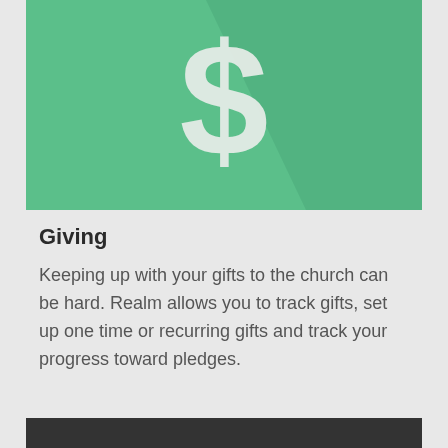[Figure (illustration): Green square background with a large white dollar sign icon and a diagonal shadow stripe across the lower right portion]
Giving
Keeping up with your gifts to the church can be hard. Realm allows you to track gifts, set up one time or recurring gifts and track your progress toward pledges.